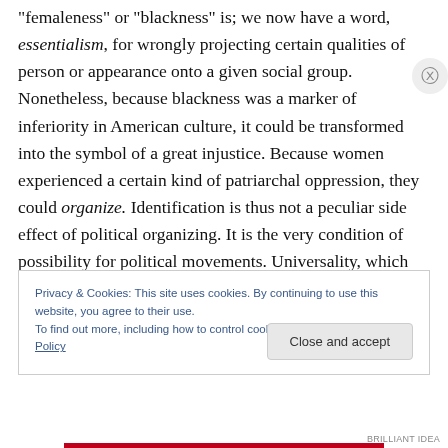"femaleness" or "blackness" is; we now have a word, essentialism, for wrongly projecting certain qualities of person or appearance onto a given social group. Nonetheless, because blackness was a marker of inferiority in American culture, it could be transformed into the symbol of a great injustice. Because women experienced a certain kind of patriarchal oppression, they could organize. Identification is thus not a peculiar side effect of political organizing. It is the very condition of possibility for political movements. Universality, which must always remain something of an empty category, has
Privacy & Cookies: This site uses cookies. By continuing to use this website, you agree to their use.
To find out more, including how to control cookies, see here: Cookie Policy